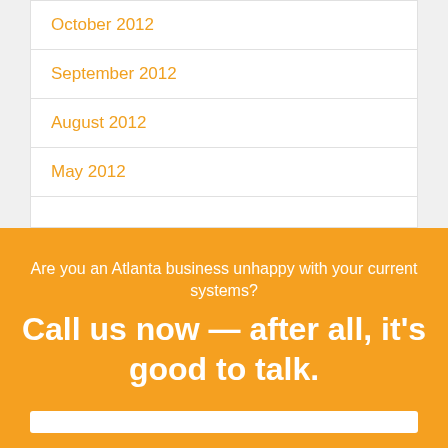October 2012
September 2012
August 2012
May 2012
Are you an Atlanta business unhappy with your current systems?
Call us now — after all, it's good to talk.